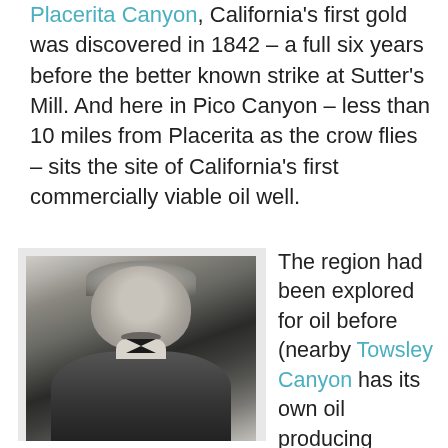Placerita Canyon, California's first gold was discovered in 1842 – a full six years before the better known strike at Sutter's Mill. And here in Pico Canyon – less than 10 miles from Placerita as the crow flies – sits the site of California's first commercially viable oil well.
[Figure (photo): Black and white portrait photograph of a middle-aged man with a mustache wearing a suit and bow tie]
The region had been explored for oil before (nearby Towsley Canyon has its own oil producing history), but it took a 30-year old French immigrant